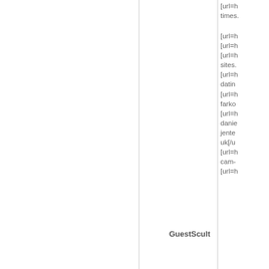[url=h times.
GuestScult
[url=h [url=h [url=h sites. [url=h datin [url=h farko [url=h danie jente uk[/u [url=h cam- [url=h
GuestExapy
<a h http:/ http:/ http:/ http:/ im ga ">un ">sa